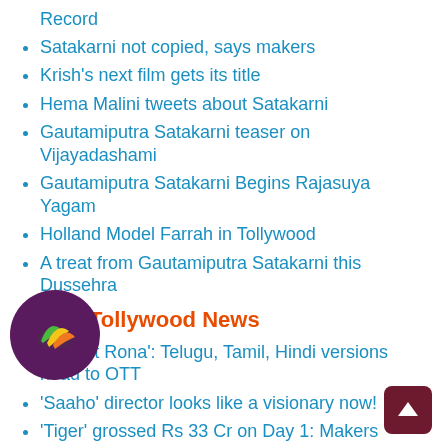Satakarni not copied, says makers
Krish's next film gets its title
Hema Malini tweets about Satakarni
Gautamiputra Satakarni teaser on Vijayadashami
Gautamiputra Satakarni Begins Rajasuya Yagam
Holland Model Farrah in Tollywood
A treat from Gautamiputra Satakarni this Dussehra
Latest Tollywood News
'Vikrant Rona': Telugu, Tamil, Hindi versions head to OTT
'Saaho' director looks like a visionary now!
'Tiger' grossed Rs 33 Cr on Day 1: Makers
Whiz! Bollywood actors to 'boycott' media very soon
Rashmika Mandanna has THIS expectation from 'Pushpa 2'
[Figure (logo): Circular dark purple chat bubble logo with colorful banana/fruit icon]
[Figure (other): Dark red square scroll-to-top button with upward arrow]